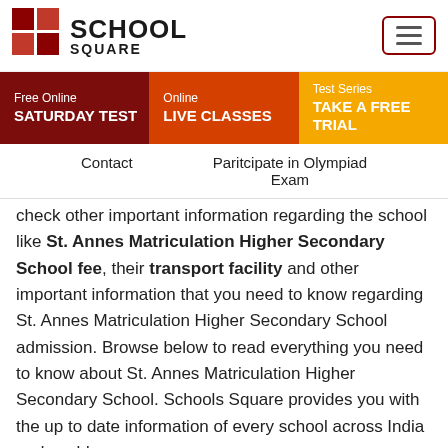[Figure (logo): School Square logo with red cross/grid and bold text 'SCHOOL SQUARE']
Free Online SATURDAY TEST | Online LIVE CLASSES | Test Series TAKE A FREE TRIAL
Contact    Paritcipate in Olympiad Exam
check other important information regarding the school like St. Annes Matriculation Higher Secondary School fee, their transport facility and other important information that you need to know regarding St. Annes Matriculation Higher Secondary School admission. Browse below to read everything you need to know about St. Annes Matriculation Higher Secondary School. Schools Square provides you with the up to date information of every school across India and world.
RECENT UPDATES >   IMO R